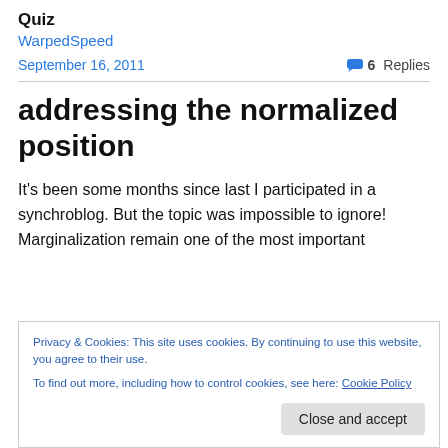Quiz
WarpedSpeed
September 16, 2011   6 Replies
addressing the normalized position
It's been some months since last I participated in a synchroblog. But the topic was impossible to ignore! Marginalization remain one of the most important
Privacy & Cookies: This site uses cookies. By continuing to use this website, you agree to their use. To find out more, including how to control cookies, see here: Cookie Policy
Close and accept